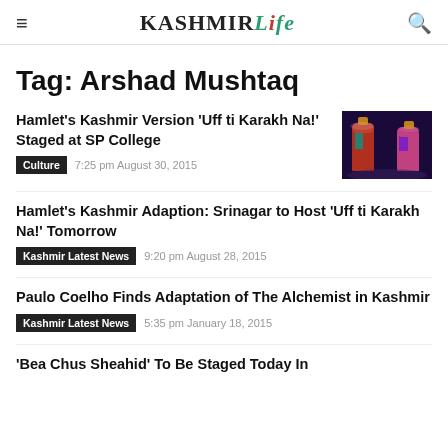Kashmir Life
Tag: Arshad Mushtaq
Hamlet's Kashmir Version 'Uff ti Karakh Na!' Staged at SP College
Culture  7:25 pm August 30, 2015
[Figure (photo): Two performers on stage in colorful traditional Kashmiri costumes under stage lighting, one in red/teal and one in pink/purple]
Hamlet's Kashmir Adaption: Srinagar to Host 'Uff ti Karakh Na!' Tomorrow
Kashmir Latest News  9:20 pm August 28, 2015
Paulo Coelho Finds Adaptation of The Alchemist in Kashmir
Kashmir Latest News  5:35 pm January 18, 2015
'Bea Chus Sheahid' To Be Staged Today In